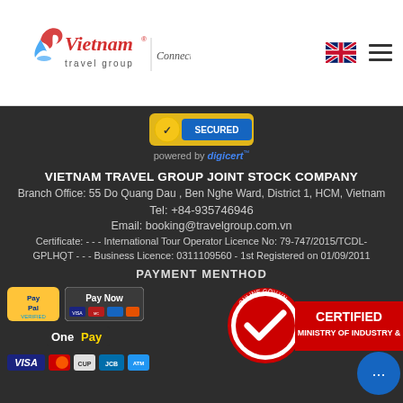[Figure (logo): Vietnam Travel Group logo with 'Connecting Cultures' tagline, UK flag icon, and hamburger menu icon in white header bar]
[Figure (logo): DigiCert seal badge with 'powered by digicert' text]
VIETNAM TRAVEL GROUP JOINT STOCK COMPANY
Branch Office: 55 Do Quang Dau , Ben Nghe Ward, District 1, HCM, Vietnam
Tel: +84-935746946
Email: booking@travelgroup.com.vn
Certificate: - - - International Tour Operator Licence No: 79-747/2015/TCDL-GPLHQT - - - Business Licence: 0311109560 - 1st Registered on 01/09/2011
PAYMENT MENTHOD
[Figure (logo): Payment method logos: PayPal, Pay Now with card icons, OnePay, Visa, Mastercard, and other card logos. Also Certified Ministry of Industry badge (online.gov.vn) and chat bubble icon.]